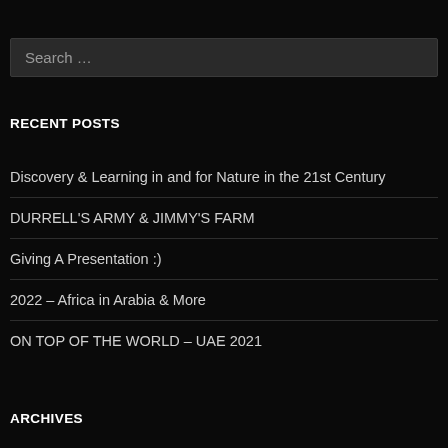Search …
RECENT POSTS
Discovery & Learning in and for Nature in the 21st Century
DURRELL'S ARMY & JIMMY'S FARM
Giving A Presentation :)
2022 – Africa in Arabia & More
ON TOP OF THE WORLD – UAE 2021
ARCHIVES